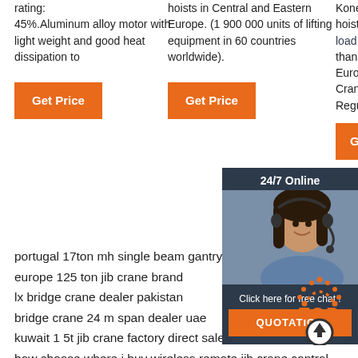rating: 45%.Aluminum alloy motor with light weight and good heat dissipation to
Get Price
hoists in Central and Eastern Europe. (1 900 000 units of lifting equipment in 60 countries worldwide).
Get Price
Konecranes A. AUXILIARY HOIST: Supplemental hoisting unit usually of lower load rating and high... than . C... Europea... Crane m... Regular...
Get R...
[Figure (photo): Chat widget with woman wearing headset, '24/7 Online' banner, 'Click here for free chat!' text, and QUOTATION button]
portugal 17ton mh single beam gantry crane factory direct sales
europe 125 ton jib crane brand
lx bridge crane dealer pakistan
bridge crane 24 m span dealer uae
kuwait 1 5t jib crane factory direct sales
how choose where i buy wireless remote jib crane control
where buy good customer reviews 10000kg lifting portable ga... crane
cameroon shipyard portal jib crane manufacturer
[Figure (illustration): TOP button with orange dotted arc above and circle with up arrow]